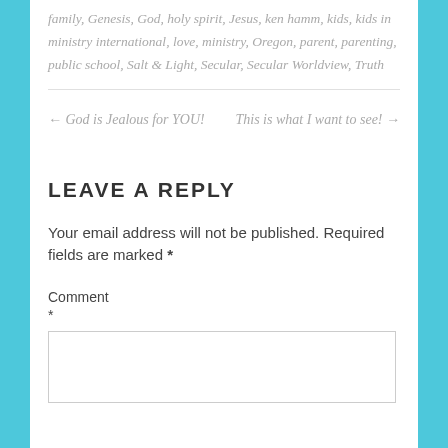family, Genesis, God, holy spirit, Jesus, ken hamm, kids, kids in ministry international, love, ministry, Oregon, parent, parenting, public school, Salt & Light, Secular, Secular Worldview, Truth
← God is Jealous for YOU!     This is what I want to see! →
LEAVE A REPLY
Your email address will not be published. Required fields are marked *
Comment *